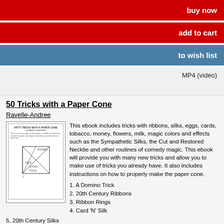buy now
add to cart
to wish list
MP4 (video)
50 Tricks with a Paper Cone
Ravelle-Andree
[Figure (illustration): Book cover showing 'FIFTY TRICKS WITH A PAPER CONE by RAVELLE-ANDREE' with text paragraphs and a diagram illustrating paper folding steps labeled FOLD 1, FOLD 2, FOLD 3, and POCKET]
This ebook includes tricks with ribbons, silks, eggs, cards, tobacco, money, flowers, milk, magic colors and effects such as the Sympathetic Silks, the Cut and Restored Necktie and other routines of comedy magic. This ebook will provide you with many new tricks and allow you to make use of tricks you already have. It also includes instructions on how to properly make the paper cone.
1. A Domino Trick
2. 20th Century Ribbons
3. Ribbon Rings
4. Card 'N' Silk
5. 20th Century Silks